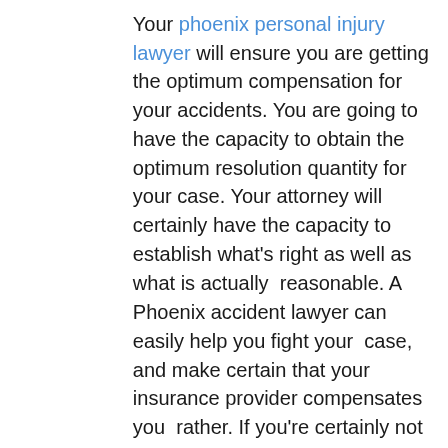Your phoenix personal injury lawyer will ensure you are getting the optimum compensation for your accidents. You are going to have the capacity to obtain the optimum resolution quantity for your case. Your attorney will certainly have the capacity to establish what's right as well as what is actually  reasonable. A Phoenix accident lawyer can easily help you fight your  case, and make certain that your insurance provider compensates you  rather. If you're certainly not satisfied along with the insurer's  settlement deal offer, you can hire a phoenix accident attorney.
Possessing  a Phoenix personal injury lawyer will certainly make certain that your  suit is actually taken care of effectively. Your attorney is going to